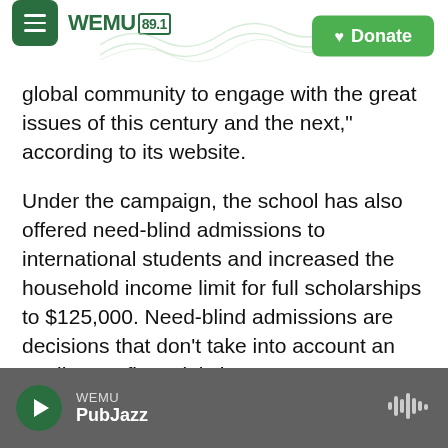WEMU 89.1 | Donate
global community to engage with the great issues of this century and the next," according to its website.
Under the campaign, the school has also offered need-blind admissions to international students and increased the household income limit for full scholarships to $125,000. Need-blind admissions are decisions that don't take into account an applicant's financial circumstances.
President Joe Biden has suspended repayment and interest on federal student loans since the start of the pandemic in March 2020.
WEMU PubJazz